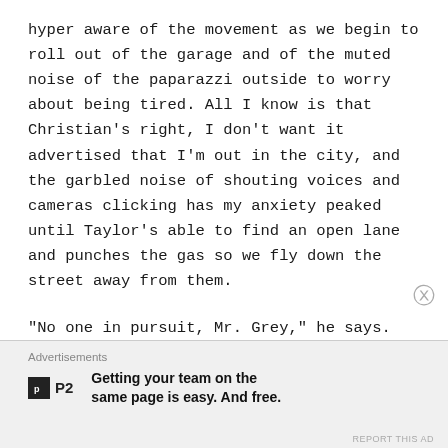hyper aware of the movement as we begin to roll out of the garage and of the muted noise of the paparazzi outside to worry about being tired. All I know is that Christian’s right, I don’t want it advertised that I’m out in the city, and the garbled noise of shouting voices and cameras clicking has my anxiety peaked until Taylor’s able to find an open lane and punches the gas so we fly down the street away from them.
“No one in pursuit, Mr. Grey,” he says.
“Thank you, Taylor. Ana?”
[Figure (other): Advertisement banner: P2 logo with text 'Getting your team on the same page is easy. And free.']